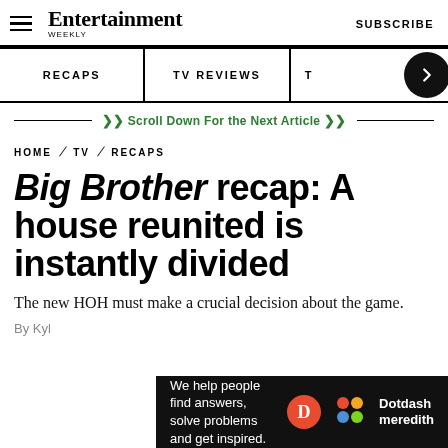Entertainment Weekly — SUBSCRIBE
RECAPS | TV REVIEWS | T →
❯❯ Scroll Down For the Next Article ❯❯
HOME / TV / RECAPS
Big Brother recap: A house reunited is instantly divided
The new HOH must make a crucial decision about the game.
By Kyl…
[Figure (advertisement): Dotdash Meredith ad banner: 'We help people find answers, solve problems and get inspired.' with D logo and colorful dots logo]